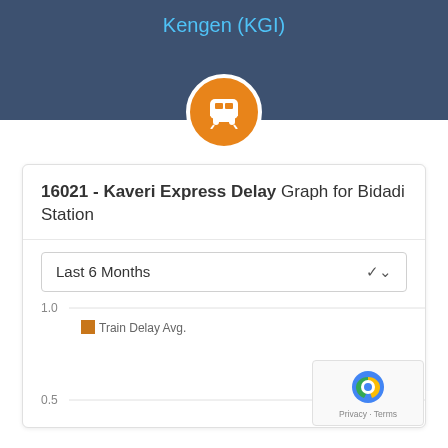Kengen (KGI)
16021 - Kaveri Express Delay Graph for Bidadi Station
Last 6 Months
[Figure (continuous-plot): Line chart showing Train Delay Avg. over Last 6 Months for Bidadi Station. Y-axis shows values 0.0, 0.5, 1.0. Data series shown in orange color labeled 'Train Delay Avg.']